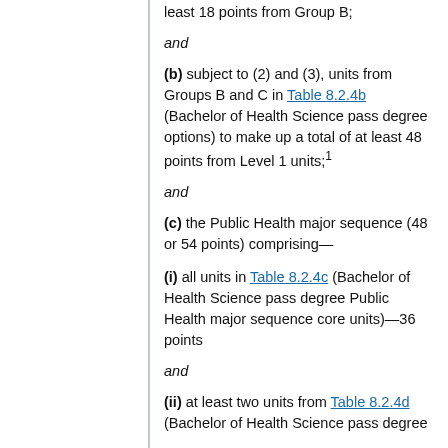least 18 points from Group B;
and
(b) subject to (2) and (3), units from Groups B and C in Table 8.2.4b (Bachelor of Health Science pass degree options) to make up a total of at least 48 points from Level 1 units;¹
and
(c) the Public Health major sequence (48 or 54 points) comprising—
(i) all units in Table 8.2.4c (Bachelor of Health Science pass degree Public Health major sequence core units)—36 points
and
(ii) at least two units from Table 8.2.4d (Bachelor of Health Science pass degree